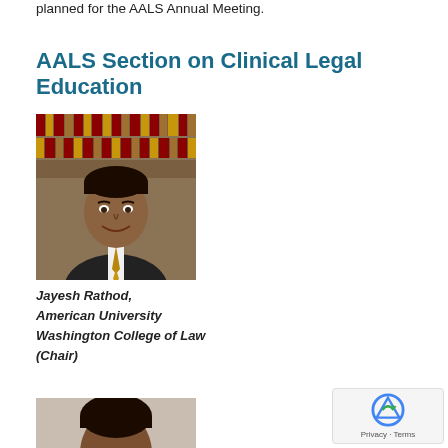planned for the AALS Annual Meeting.
AALS Section on Clinical Legal Education
[Figure (photo): Professional headshot of Jayesh Rathod in front of law library bookshelves, wearing a dark suit and striped tie]
Jayesh Rathod, American University Washington College of Law (Chair)
[Figure (photo): Partial headshot of second person, cropped at bottom of page]